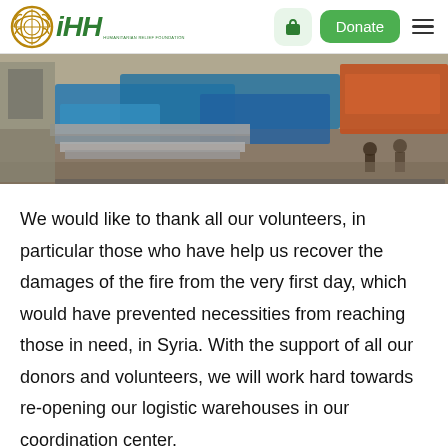iHH — Donate
[Figure (photo): Photo of metal/steel panels or slabs covered with blue tarpaulins in a construction or warehouse yard, with workers and trucks visible in the background.]
We would like to thank all our volunteers, in particular those who have help us recover the damages of the fire from the very first day, which would have prevented necessities from reaching those in need, in Syria. With the support of all our donors and volunteers, we will work hard towards re-opening our logistic warehouses in our coordination center.